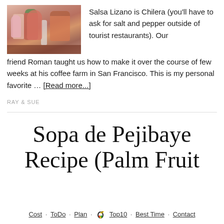[Figure (photo): Photo of condiment bottles and jars on a wooden surface, including what appears to be Salsa Lizano and other condiments.]
Salsa Lizano is Chilera (you'll have to ask for salt and pepper outside of tourist restaurants). Our friend Roman taught us how to make it over the course of few weeks at his coffee farm in San Francisco. This is my personal favorite … [Read more...]
RAY & SUE
Sopa de Pejibaye Recipe (Palm Fruit
Cost · ToDo · Plan · Top10 · Best Time · Contact